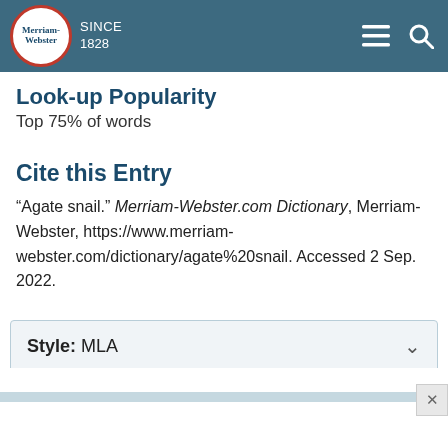Merriam-Webster SINCE 1828
Look-up Popularity
Top 75% of words
Cite this Entry
“Agate snail.” Merriam-Webster.com Dictionary, Merriam-Webster, https://www.merriam-webster.com/dictionary/agate%20snail. Accessed 2 Sep. 2022.
Style: MLA